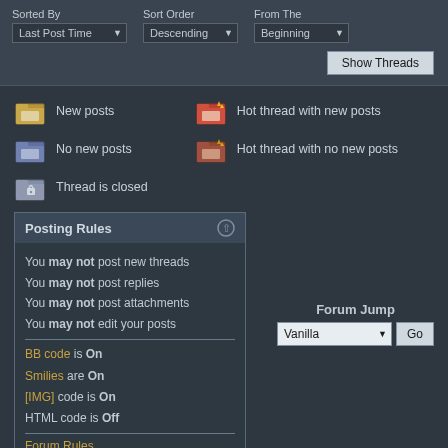[Figure (screenshot): Forum thread sort controls: Sorted By (Last Post Time), Sort Order (Descending), From The (Beginning) dropdowns, and Show Threads button]
New posts
Hot thread with new posts
No new posts
Hot thread with no new posts
Thread is closed
Posting Rules
You may not post new threads
You may not post replies
You may not post attachments
You may not edit your posts
BB code is On
Smilies are On
[IMG] code is On
HTML code is Off
Forum Rules
Forum Jump
All times are GMT +1. The time now is 20:49.
Contact Us - Angband.oook.cz - Archive - Top
Powered by vBulletin® Version 3.8.11
Copyright ©2000 - 2022, vBulletin Solutions Inc.